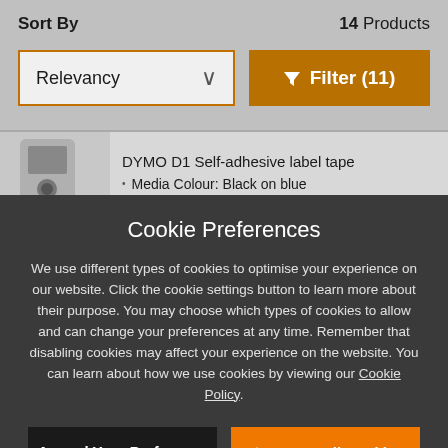Sort By
14 Products
Relevancy
Filter (11)
DYMO D1 Self-adhesive label tape
Media Colour: Black on blue
Cookie Preferences
We use different types of cookies to optimise your experience on our website. Click the cookie settings button to learn more about their purpose. You may choose which types of cookies to allow and can change your preferences at any time. Remember that disabling cookies may affect your experience on the website. You can learn about how we use cookies by viewing our Cookie Policy.
Amend Your Preference
Accept All Cookies